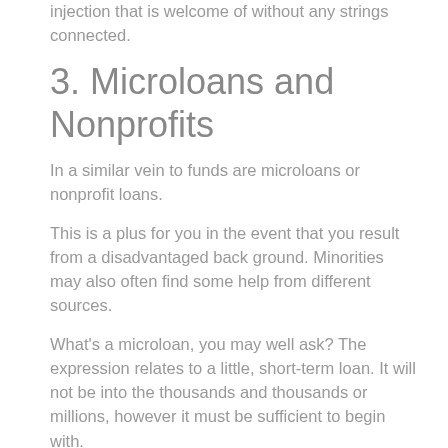injection that is welcome of without any strings connected.
3. Microloans and Nonprofits
In a similar vein to funds are microloans or nonprofit loans.
This is a plus for you in the event that you result from a disadvantaged back ground. Minorities may also often find some help from different sources.
What's a microloan, you may well ask? The expression relates to a little, short-term loan. It will not be into the thousands and thousands or millions, however it must be sufficient to begin with.
While they aren't particularly loans for bad credit, they do not demand a credit check. Therefore a credit that is bad will not count against you in securing one.
The business Association (SBA) administers a